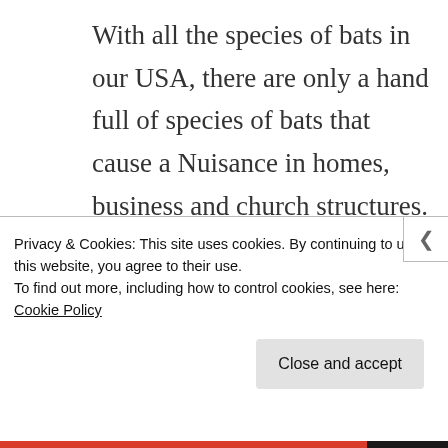With all the species of bats in our USA, there are only a hand full of species of bats that cause a Nuisance in homes, business and church structures. These include Big Brown Bats and Small Brown Bats ect..
The most common practice to remove a bat colony in Houston
Privacy & Cookies: This site uses cookies. By continuing to use this website, you agree to their use.
To find out more, including how to control cookies, see here: Cookie Policy
Close and accept